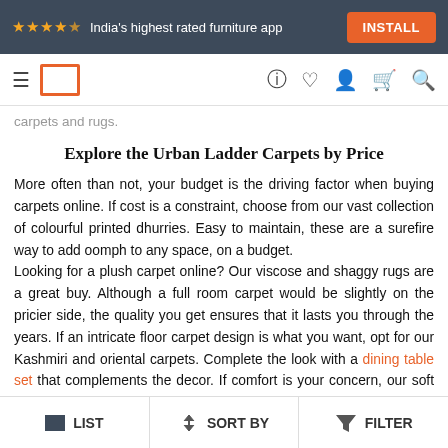★★★★☆ India's highest rated furniture app  INSTALL
Navigation bar with hamburger, logo, help, wishlist, account, cart, search icons
carpets and rugs.
Explore the Urban Ladder Carpets by Price
More often than not, your budget is the driving factor when buying carpets online. If cost is a constraint, choose from our vast collection of colourful printed dhurries. Easy to maintain, these are a surefire way to add oomph to any space, on a budget.
Looking for a plush carpet online? Our viscose and shaggy rugs are a great buy. Although a full room carpet would be slightly on the pricier side, the quality you get ensures that it lasts you through the years. If an intricate floor carpet design is what you want, opt for our Kashmiri and oriental carpets. Complete the look with a dining table set that complements the decor. If comfort is your concern, our soft pile carpet design collection will make you want to sink your feet right into it! And
LIST   SORT BY   FILTER